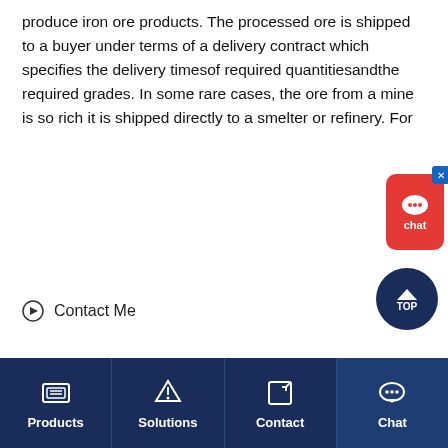produce iron ore products. The processed ore is shipped to a buyer under terms of a delivery contract which specifies the delivery timesof required quantitiesandthe required grades. In some rare cases, the ore from a mine is so rich it is shipped directly to a smelter or refinery. For
Contact Me
[Figure (photo): Industrial ball mill machine in red/orange color with large gear wheel, motor units in teal/blue, mounted on red base frame]
Products | Solutions | Contact | Chat